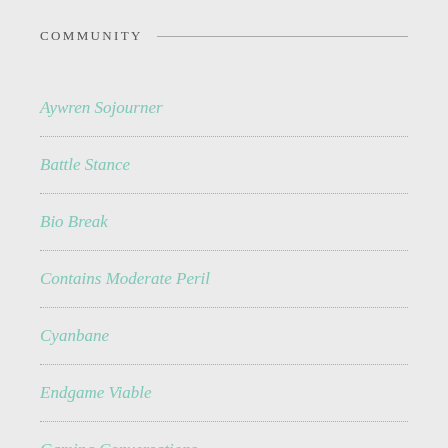COMMUNITY
Aywren Sojourner
Battle Stance
Bio Break
Contains Moderate Peril
Cyanbane
Endgame Viable
Gaming Conversations
Gaming SF
Hardcore Casual